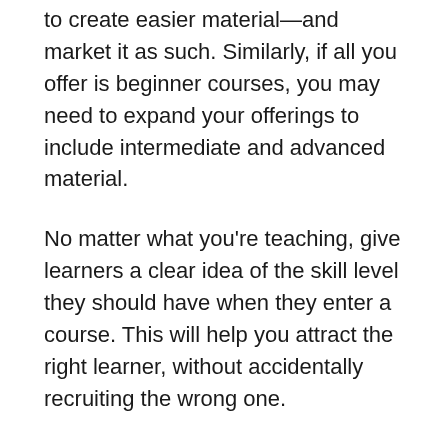to create easier material—and market it as such. Similarly, if all you offer is beginner courses, you may need to expand your offerings to include intermediate and advanced material.
No matter what you're teaching, give learners a clear idea of the skill level they should have when they enter a course. This will help you attract the right learner, without accidentally recruiting the wrong one.
2. Identify points in your course that are going to be more